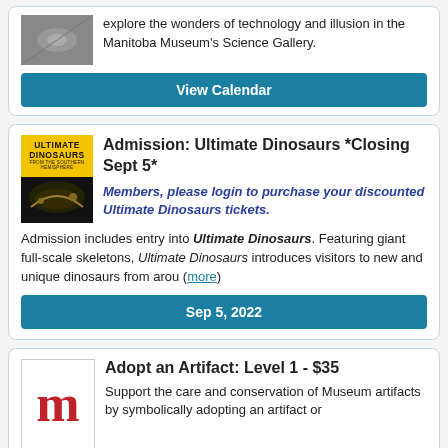[Figure (photo): Partial image of a science/technology display at Manitoba Museum Science Gallery]
explore the wonders of technology and illusion in the Manitoba Museum's Science Gallery.
View Calendar
[Figure (photo): Ultimate Dinosaurs exhibition poster with T-Rex skull on black/yellow background]
Admission: Ultimate Dinosaurs *Closing Sept 5*
Members, please login to purchase your discounted Ultimate Dinosaurs tickets.
Admission includes entry into Ultimate Dinosaurs. Featuring giant full-scale skeletons, Ultimate Dinosaurs introduces visitors to new and unique dinosaurs from arou (more)
Sep 5, 2022
[Figure (logo): Manitoba Museum logo - red letter m]
Adopt an Artifact: Level 1 - $35
Support the care and conservation of Museum artifacts by symbolically adopting an artifact or